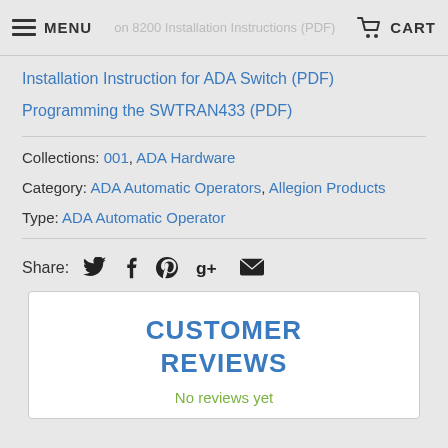MENU  [nav title: Installation Instructions (PDF)]  CART
Installation Instruction for ADA Switch (PDF)
Programming the SWTRAN433 (PDF)
Collections: 001, ADA Hardware
Category: ADA Automatic Operators, Allegion Products
Type: ADA Automatic Operator
Share: [Twitter] [Facebook] [Pinterest] [Google+] [Email]
CUSTOMER REVIEWS
No reviews yet